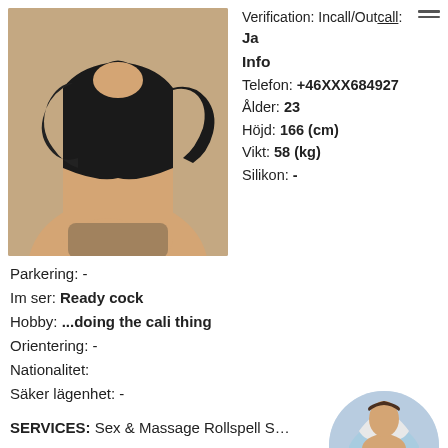[Figure (photo): Woman in black off-shoulder outfit posing]
Verification: Incall/Outcall:
Ja
Info
Telefon: +46XXX684927
Ålder: 23
Höjd: 166 (cm)
Vikt: 58 (kg)
Silikon: -
Parkering: -
Im ser: Ready cock
Hobby: ...doing the cali thing
Orientering: -
Nationalitet:
Säker lägenhet: -
SERVICES: Sex & Massage Rollspell S... Oralsex vid duschning Hard dominant Ora... kondom Sexleksaker Erfarenhet av flickvän (GFE)
[Figure (photo): Woman in light blue top in circular thumbnail]